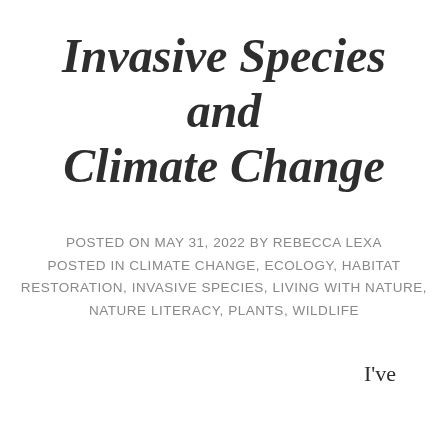Invasive Species and Climate Change
POSTED ON MAY 31, 2022 BY REBECCA LEXA
POSTED IN CLIMATE CHANGE, ECOLOGY, HABITAT RESTORATION, INVASIVE SPECIES, LIVING WITH NATURE, NATURE LITERACY, PLANTS, WILDLIFE
I've